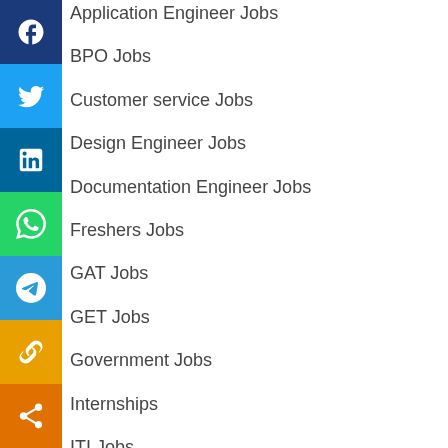Application Engineer Jobs
BPO Jobs
Customer service Jobs
Design Engineer Jobs
Documentation Engineer Jobs
Freshers Jobs
GAT Jobs
GET Jobs
Government Jobs
Internships
ITI Jobs
Logistics Engineer Jobs
Maintenance Engineer Jobs
Manager Jobs